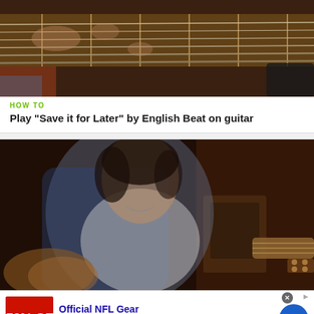[Figure (photo): Close-up photo of hands playing an acoustic guitar, showing the fretboard and strings from above]
HOW TO
Play "Save it for Later" by English Beat on guitar
[Figure (photo): Photo of a person wearing a blue vest and white shirt playing a guitar, shown from the torso up]
Official NFL Gear
Get Your Favorite Team's Gear Here
www.nflshop.com